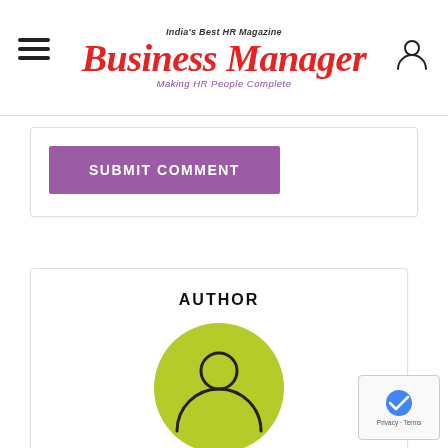India's Best HR Magazine — Business Manager — Making HR People Complete
SUBMIT COMMENT
AUTHOR
[Figure (illustration): Circular user/person avatar icon on a yellow-green background circle]
admin
VIEW ALL POSTS